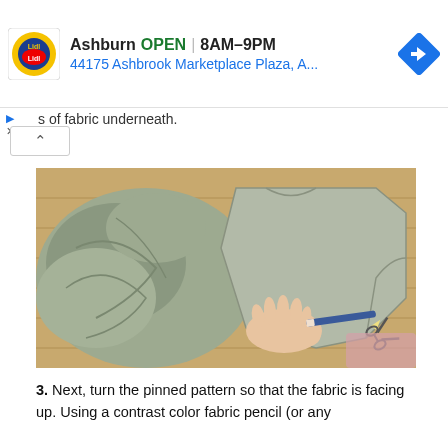[Figure (screenshot): Lidl store ad banner showing Ashburn location, OPEN 8AM-9PM, address 44175 Ashbrook Marketplace Plaza, A... with navigation arrow icon]
s of fabric underneath.
[Figure (photo): Overhead photo of a person tracing around a fabric pattern piece laid on a wooden table, with a contrast color fabric pencil. Sage green/grey fabric is visible both as a crumpled pile and as a flat pattern piece.]
3. Next, turn the pinned pattern so that the fabric is facing up. Using a contrast color fabric pencil (or any